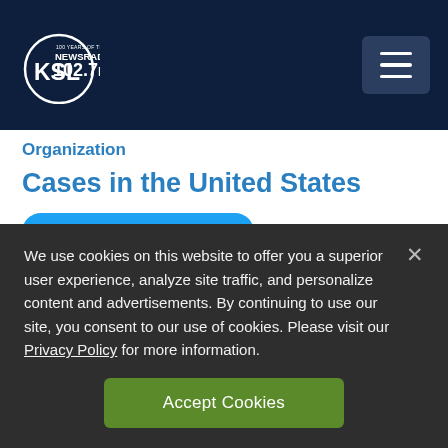[Figure (logo): KSL NewsRadio 102.7FM logo with circular KSL emblem and '100 YEARS OF TRUST' text]
Organization
Cases in the United States
Follow @SimoneSeikaly
Share
We use cookies on this website to offer you a superior user experience, analyze site traffic, and personalize content and advertisements. By continuing to use our site, you consent to our use of cookies. Please visit our Privacy Policy for more information.
Accept Cookies